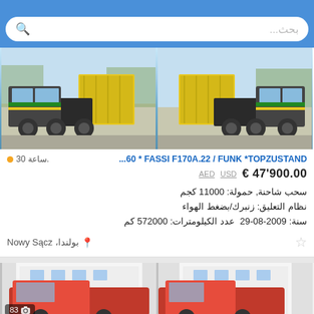[Figure (screenshot): Mobile app search bar with blue background and rounded white search input with placeholder text in Arabic (بحث...)]
[Figure (photo): Two photos of a yellow-green DAF truck with hook-lift container system, outdoor parking lot with trees in background]
...60 * FASSI F170A.22 / FUNK *TOPZUSTAND
30 ساعة.
€ 47'900.00  USD  AED
سحب شاحنة, حمولة: 11000 كجم
نظام التعليق: زنبرك/بضغط الهواء
سنة: 2009-08-29  عدد الكيلومترات: 572000 كم
بولندا، Nowy Sącz
[Figure (photo): Two partial photos of a red vehicle (second listing), right image has photo count badge showing camera icon and 83]